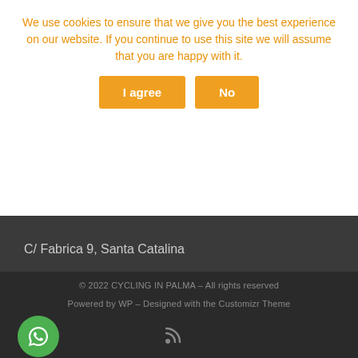We use cookies to ensure that we give you the best experience on our website. If you continue to use this site we will assume that you are happy with it.
I agree | No
C/ Fabrica 9, Santa Catalina
07013 Palma de Mallorca
© 2022 CYCLING IN PALMA – All rights reserved
Powered by WP – Designed with the Customizr Theme